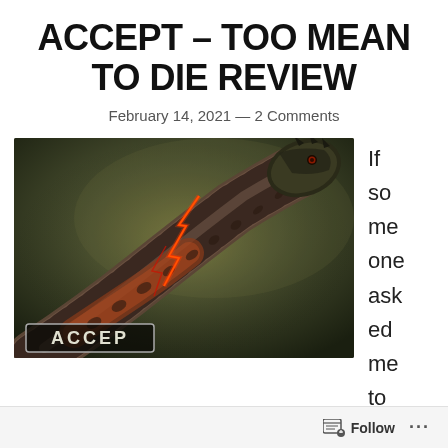ACCEPT – TOO MEAN TO DIE REVIEW
February 14, 2021 — 2 Comments
[Figure (photo): Album cover art for Accept – Too Mean to Die, showing a dark mechanical/armored snake with red lightning bolt, with the ACCEPT logo at the bottom]
If someone asked me to
Follow ···